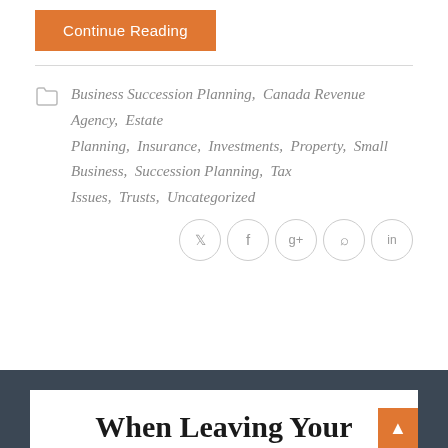Continue Reading
Business Succession Planning, Canada Revenue Agency, Estate Planning, Insurance, Investments, Property, Small Business, Succession Planning, Tax Issues, Trusts, Uncategorized
When Leaving Your Premises for Medical Reasons